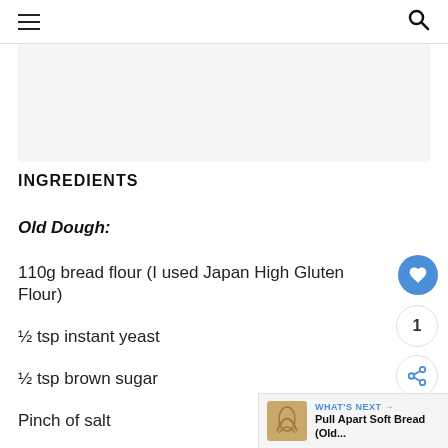≡  🔍
[Figure (other): Gray placeholder image box]
INGREDIENTS
Old Dough:
110g bread flour (I used Japan High Gluten Flour)
½ tsp instant yeast
½ tsp brown sugar
Pinch of salt
70g water
WHAT'S NEXT → Pull Apart Soft Bread (Old...